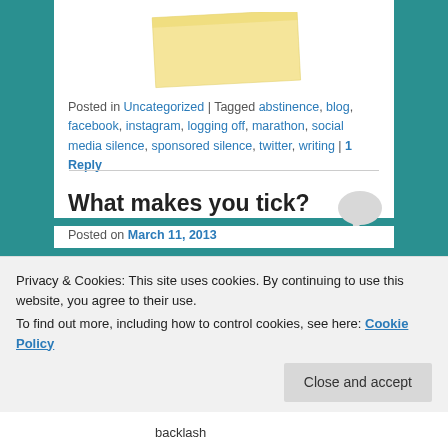[Figure (illustration): Partial sticky note image visible at top of page]
Posted in Uncategorized | Tagged abstinence, blog, facebook, instagram, logging off, marathon, social media silence, sponsored silence, twitter, writing | 1 Reply
What makes you tick?
Posted on March 11, 2013
Recent “research” from the folk over at Facebook posits more people see our posts than we might think. I put the
Privacy & Cookies: This site uses cookies. By continuing to use this website, you agree to their use.
To find out more, including how to control cookies, see here: Cookie Policy
backlash